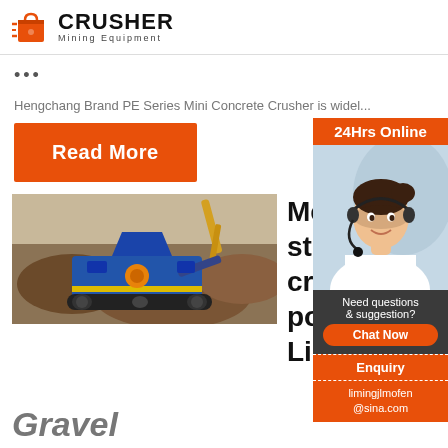CRUSHER Mining Equipment
...
Hengchang Brand PE Series Mini Concrete Crusher is widel...
Read More
[Figure (photo): Blue mobile stone crushing machine at a quarry/construction site with rocky terrain in background]
Metso stone crush porta Limes
Gravel
[Figure (photo): Customer service agent (woman with headset) for 24Hrs Online support panel with Chat Now, Enquiry, and email contact limingjlmofen@sina.com]
24Hrs Online
Need questions & suggestion?
Chat Now
Enquiry
limingjlmofen@sina.com